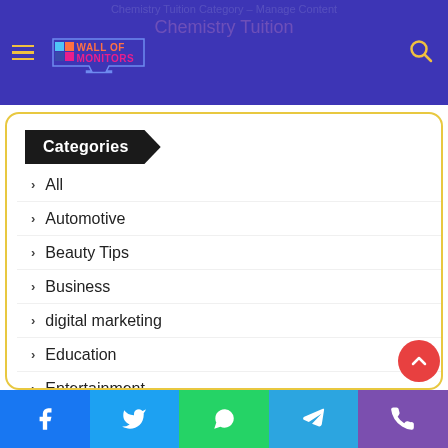Wall of Monitors
Categories
All
Automotive
Beauty Tips
Business
digital marketing
Education
Entertainment
Fashion
Facebook | Twitter | WhatsApp | Telegram | Phone